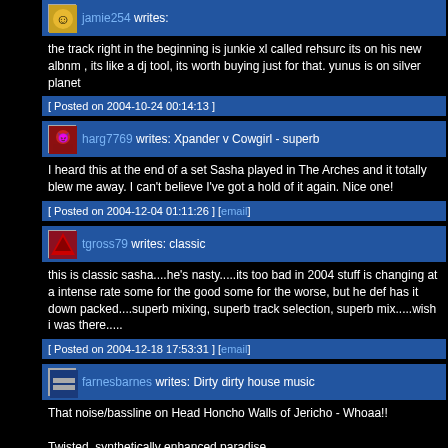jamie254 writes:
the track right in the beginning is junkie xl called rehsurc its on his new albnm , its like a dj tool, its worth buying just for that. yunus is on silver planet
[ Posted on 2004-10-24 00:14:13 ]
harg7769 writes: Xpander v Cowgirl - superb
I heard this at the end of a set Sasha played in The Arches and it totally blew me away. I can't believe I've got a hold of it again. Nice one!
[ Posted on 2004-12-04 01:11:26 ] [email]
tgross79 writes: classic
this is classic sasha....he's nasty.....its too bad in 2004 stuff is changing at a intense rate some for the good some for the worse, but he def has it down packed....superb mixing, superb track selection, superb mix.....wish i was there.....
[ Posted on 2004-12-18 17:53:31 ] [email]
farnesbarnes writes: Dirty dirty house music
That noise/bassline on Head Honcho Walls of Jericho - Whoaa!!

Twisted, synthetically enhanced paradise.
[ Posted on 2005-02-21 20:49:45 ] [email]
Lenfy writes:
Excellent track selection, Sasha pulls it off once